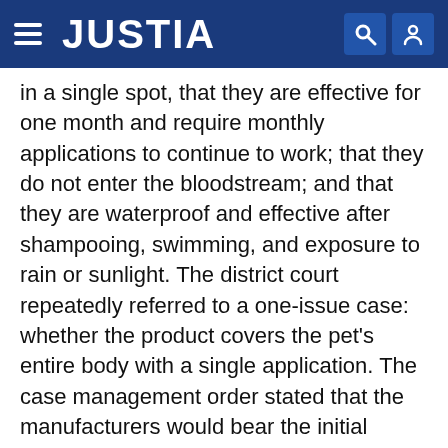JUSTIA
in a single spot, that they are effective for one month and require monthly applications to continue to work; that they do not enter the bloodstream; and that they are waterproof and effective after shampooing, swimming, and exposure to rain or sunlight. The district court repeatedly referred to a one-issue case: whether the product covers the pet’s entire body with a single application. The case management order stated that the manufacturers would bear the initial burden to produce studies that substantiated their claims; the plaintiffs would then have to refute the studies, “or these cases will be dismissed.” The manufacturers objected. The plaintiffs argued that the plan would save time, effort, and money. The manufacturers submitted studies. The plaintiffs’ response included information provided by one plaintiff and his adolescent son and an independent examination of whether translocation occurred that